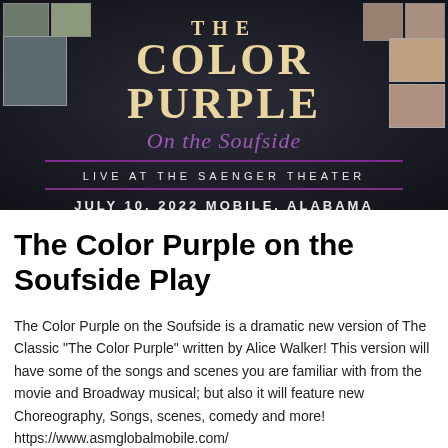[Figure (illustration): Promotional poster for 'The Color Purple on the Soufside' play. Dark textured background with cast photo thumbnails along top and sides. Gold/cream text reads 'THE COLOR PURPLE' in large letters, with 'On the Soufside' in purple italic script below. Text reads 'LIVE AT THE SAENGER THEATER' then 'JULY 10, 2022 MOBILE, ALABAMA' with purple decorative lines.]
The Color Purple on the Soufside Play
The Color Purple on the Soufside is a dramatic new version of The Classic “The Color Purple” written by Alice Walker! This version will have some of the songs and scenes you are familiar with from the movie and Broadway musical; but also it will feature new Choreography, Songs, scenes, comedy and more!  https://www.asmglobalmobile.com/